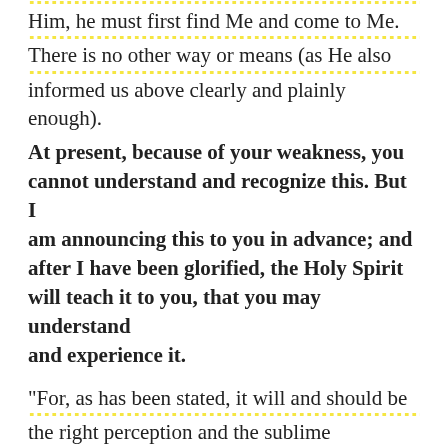Him, he must first find Me and come to Me. There is no other way or means (as He also informed us above clearly and plainly enough). At present, because of your weakness, you cannot understand and recognize this. But I am announcing this to you in advance; and after I have been glorified, the Holy Spirit will teach it to you, that you may understand and experience it.

"For, as has been stated, it will and should be the right perception and the sublime knowledge of Christians to learn and comprehend that there is no other way to lay hold of God—that is, to be delivered from sin, to be saved, and to live eternally, than through one door. You must